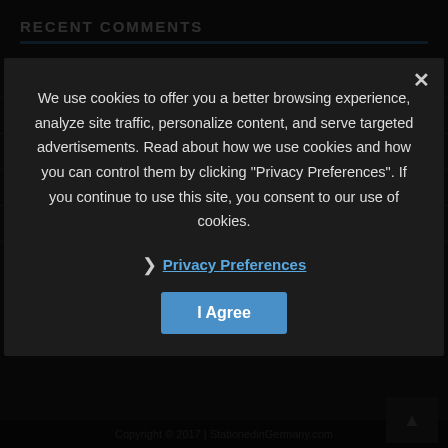RECENT COMMENTS
Edith on Flying Your Pet on United Petsafe
Heather on Tax Free Shopping on Amazon.de?
Bill on All About the APO
Mark Bailey on APO Shipping Restrictions
David Fin... (partially visible)
JOIN O... (partially visible)
We use cookies to offer you a better browsing experience, analyze site traffic, personalize content, and serve targeted advertisements. Read about how we use cookies and how you can control them by clicking "Privacy Preferences". If you continue to use this site, you consent to our use of cookies.
❯  Privacy Preferences
I Agree
Copyright © 2017 | StationedinGermany.com